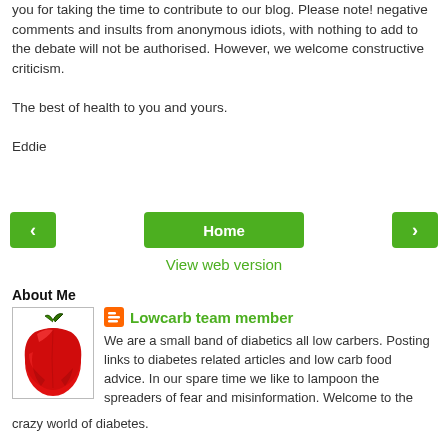you for taking the time to contribute to our blog. Please note! negative comments and insults from anonymous idiots, with nothing to add to the debate will not be authorised. However, we welcome constructive criticism.

The best of health to you and yours.

Eddie
[Figure (infographic): Navigation bar with green left arrow button, green Home button, and green right arrow button]
View web version
About Me
[Figure (photo): Red bell pepper image inside a bordered box]
Lowcarb team member
We are a small band of diabetics all low carbers. Posting links to diabetes related articles and low carb food advice. In our spare time we like to lampoon the spreaders of fear and misinformation. Welcome to the crazy world of diabetes.